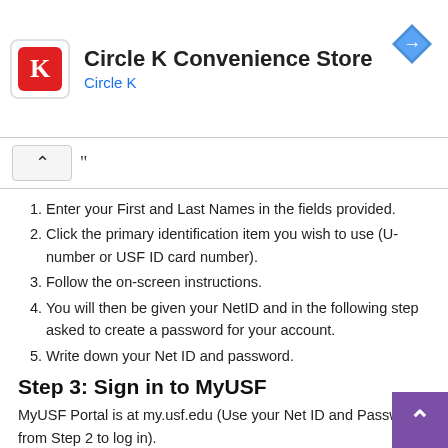[Figure (screenshot): Circle K Convenience Store advertisement banner with logo, store name, and navigation icon]
Enter your First and Last Names in the fields provided.
Click the primary identification item you wish to use (U-number or USF ID card number).
Follow the on-screen instructions.
You will then be given your NetID and in the following step asked to create a password for your account.
Write down your Net ID and password.
Step 3: Sign in to MyUSF
MyUSF Portal is at my.usf.edu (Use your Net ID and Password from Step 2 to log in).